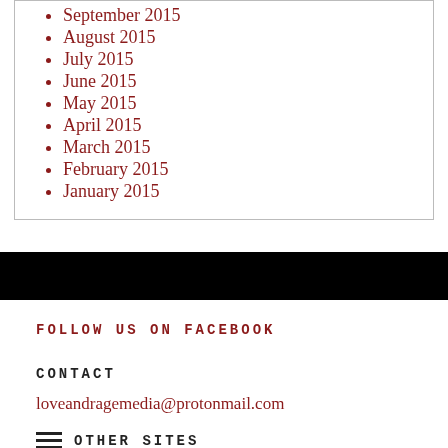September 2015
August 2015
July 2015
June 2015
May 2015
April 2015
March 2015
February 2015
January 2015
FOLLOW US ON FACEBOOK
CONTACT
loveandragemedia@protonmail.com
OTHER SITES